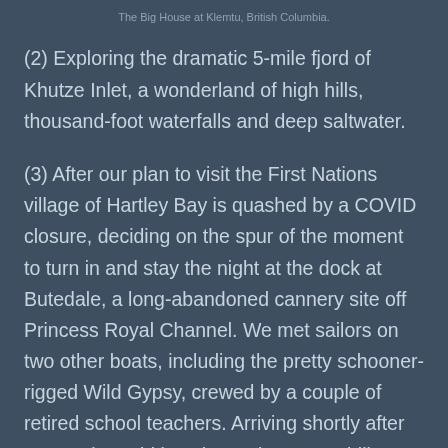The Big House at Klemtu, British Columbia.
(2) Exploring the dramatic 5-mile fjord of Khutze Inlet, a wonderland of high hills, thousand-foot waterfalls and deep saltwater.
(3) After our plan to visit the First Nations village of Hartley Bay is quashed by a COVID closure, deciding on the spur of the moment to turn in and stay the night at the dock at Butedale, a long-abandoned cannery site off Princess Royal Channel. We met sailors on two other boats, including the pretty schooner-rigged Wild Gypsy, crewed by a couple of retired school teachers. Arriving shortly after us: two intrepid kayakers who are paddling from Lund, B.C., to Skagway, Alaska. Carol, Barbara M. and I explored the ruins, stepping around a generous pile